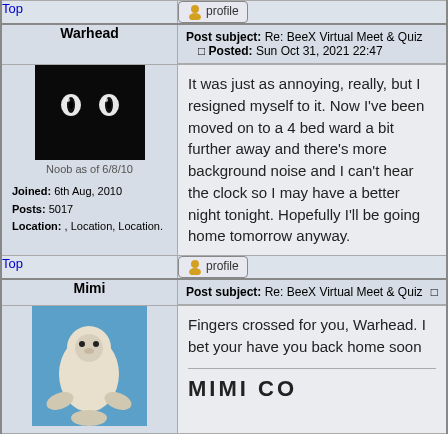| User | Post |
| --- | --- |
| Top | profile |
| Warhead
Noob as of 6/8/10
Joined: 6th Aug, 2010
Posts: 5017
Location: , Location, Location. | Post subject: Re: BeeX Virtual Meet & Quiz
Posted: Sun Oct 31, 2021 22:47

It was just as annoying, really, but I resigned myself to it. Now I've been moved on to a 4 bed ward a bit further away and there's more background noise and I can't hear the clock so I may have a better night tonight. Hopefully I'll be going home tomorrow anyway. |
| Top | profile |
| Mimi | Post subject: Re: BeeX Virtual Meet & Quiz

Fingers crossed for you, Warhead. I bet your have you back home soon

MIMI CO... |